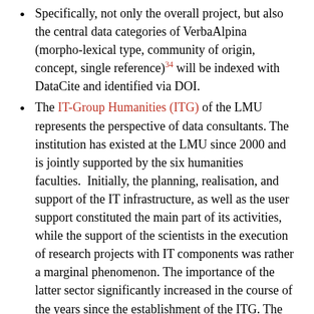Specifically, not only the overall project, but also the central data categories of VerbaAlpina (morpho-lexical type, community of origin, concept, single reference)^34 will be indexed with DataCite and identified via DOI.
The IT-Group Humanities (ITG) of the LMU represents the perspective of data consultants. The institution has existed at the LMU since 2000 and is jointly supported by the six humanities faculties. Initially, the planning, realisation, and support of the IT infrastructure, as well as the user support constituted the main part of its activities, while the support of the scientists in the execution of research projects with IT components was rather a marginal phenomenon. The importance of the latter sector significantly increased in the course of the years since the establishment of the ITG. The emergence of the label “Digital Humanities” (DH)^35 can be seen as an indicator of